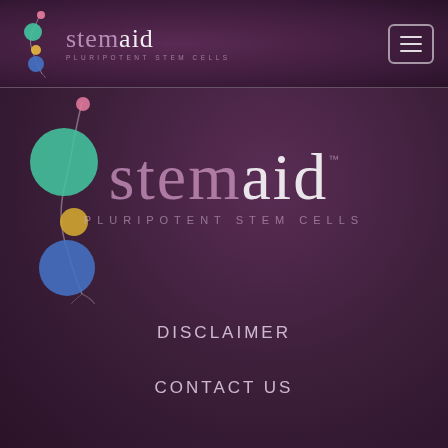stemaid PLURIPOTENT STEM CELLS
[Figure (logo): Stemaid logo with molecule graphic and text 'stemaid PLURIPOTENT STEM CELLS' with TM mark]
DISCLAIMER
CONTACT US